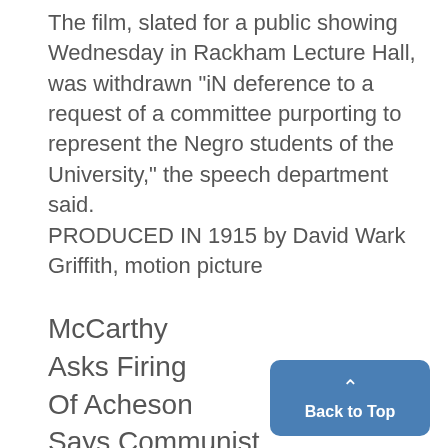The film, slated for a public showing Wednesday in Rackham Lecture Hall, was withdrawn "iN deference to a request of a committee purporting to represent the Negro students of the University," the speech department said. PRODUCED IN 1915 by David Wark Griffith, motion picture
McCarthy
Asks Firing
Of Acheson
Says Communist